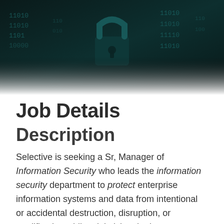[Figure (photo): Dark hero image showing a padlock with binary code (0s and 1s) overlaid, suggesting cybersecurity or information security theme. Dark teal/black tones.]
Job Details
Description
Selective is seeking a Sr, Manager of Information Security who leads the information security department to protect enterprise information systems and data from intentional or accidental destruction, disruption, or modification while minimizing the impact upon those who need legitimate access to the data. Works closely across ITS teams and business units to identify gaps, specify